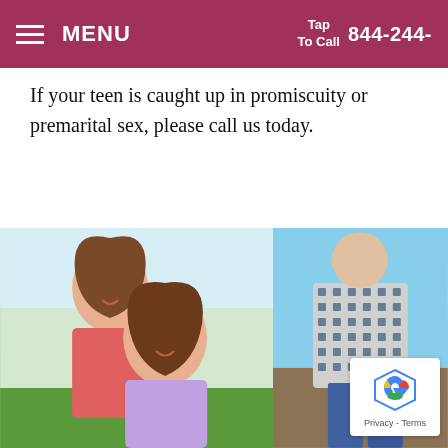MENU   Tap To Call   844-244-
If your teen is caught up in promiscuity or premarital sex, please call us today.
[Figure (photo): Two smiling teenage girls hugging outdoors on a green field with a light sky background]
[Figure (photo): Person seen from behind wearing a blue and white patterned jacket outdoors]